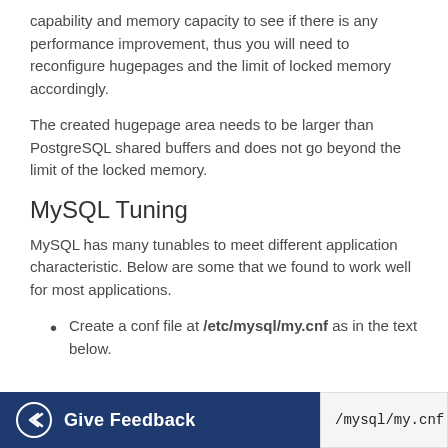capability and memory capacity to see if there is any performance improvement, thus you will need to reconfigure hugepages and the limit of locked memory accordingly.
The created hugepage area needs to be larger than PostgreSQL shared buffers and does not go beyond the limit of the locked memory.
MySQL Tuning
MySQL has many tunables to meet different application characteristic. Below are some that we found to work well for most applications.
Create a conf file at /etc/mysql/my.cnf as in the text below.
/mysql/my.cnf